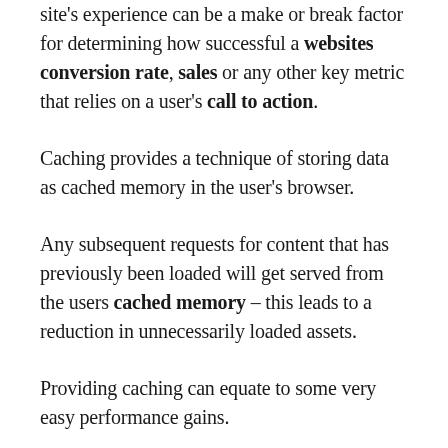site's experience can be a make or break factor for determining how successful a websites conversion rate, sales or any other key metric that relies on a user's call to action.
Caching provides a technique of storing data as cached memory in the user's browser.
Any subsequent requests for content that has previously been loaded will get served from the users cached memory – this leads to a reduction in unnecessarily loaded assets.
Providing caching can equate to some very easy performance gains.